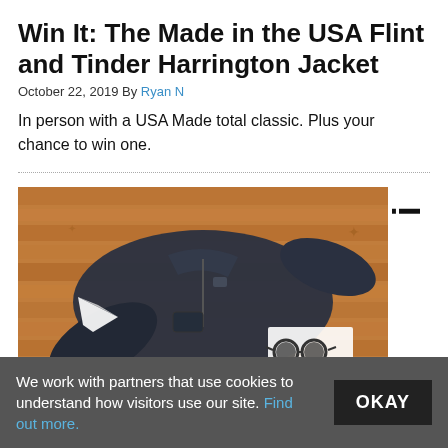Win It: The Made in the USA Flint and Tinder Harrington Jacket
October 22, 2019 By Ryan N
In person with a USA Made total classic. Plus your chance to win one.
[Figure (photo): A dark navy Harrington jacket laid flat on a wooden floor, accompanied by a paper airplane, sunglasses, and a piece of white paper. Vertical text on the right side reads 'InRevi'.]
We work with partners that use cookies to understand how visitors use our site. Find out more.